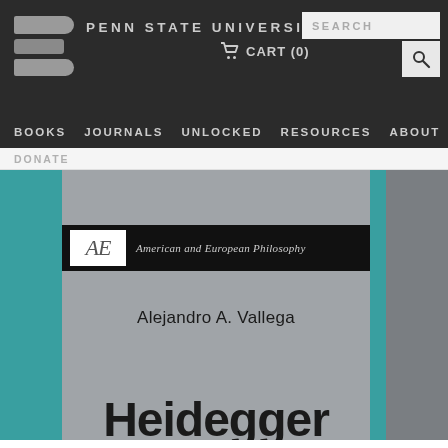PENN STATE UNIVERSITY PRESS
CART (0)
SEARCH
BOOKS  JOURNALS  UNLOCKED  RESOURCES  ABOUT
DONATE
[Figure (illustration): Book cover showing series label 'AE - American and European Philosophy', author name 'Alejandro A. Vallega', and partial book title 'Heidegger' on a gray and teal background.]